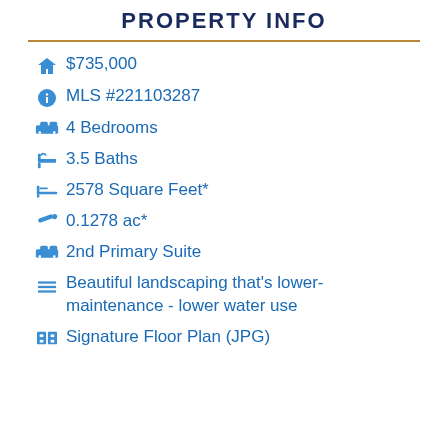PROPERTY INFO
$735,000
MLS #221103287
4 Bedrooms
3.5 Baths
2578 Square Feet*
0.1278 ac*
2nd Primary Suite
Beautiful landscaping that's lower-maintenance - lower water use
Signature Floor Plan (JPG)